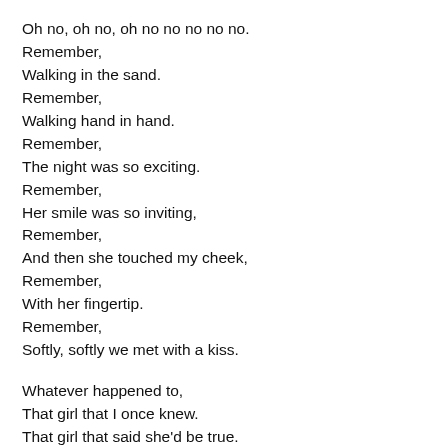Oh no, oh no, oh no no no no no.
Remember,
Walking in the sand.
Remember,
Walking hand in hand.
Remember,
The night was so exciting.
Remember,
Her smile was so inviting,
Remember,
And then she touched my cheek,
Remember,
With her fingertip.
Remember,
Softly, softly we met with a kiss.

Whatever happened to,
That girl that I once knew.
That girl that said she'd be true.